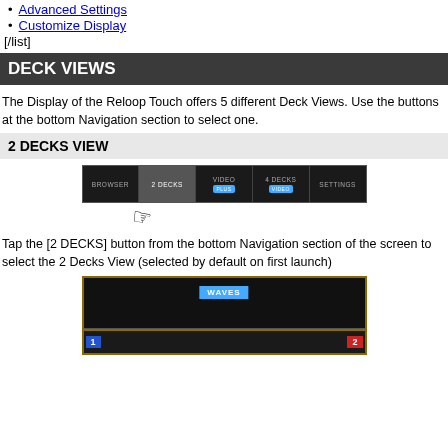Advanced Settings
Customize Display
[/list]
DECK VIEWS
The Display of the Reloop Touch offers 5 different Deck Views. Use the buttons at the bottom Navigation section to select one.
2 DECKS VIEW
[Figure (screenshot): Navigation bar showing BROWSER, 2 DECKS (active/highlighted), VIDEO with blue badge, 4 DECKS with blue badge, SETTINGS buttons. A hand/cursor pointer is shown pointing at the 2 DECKS button.]
Tap the [2 DECKS] button from the bottom Navigation section of the screen to select the 2 Decks View (selected by default on first launch)
[Figure (screenshot): 2 Decks View screenshot showing WAVES label at top center in blue, waveform display area, and deck rows with deck number 1 in blue on left and deck number 2 in red on right, with yellow/gold borders.]